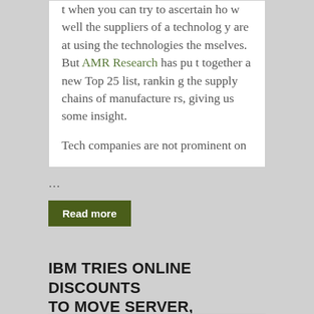t when you can try to ascertain how well the suppliers of a technology are at using the technologies themselves. But AMR Research has put together a new Top 25 list, ranking the supply chains of manufacturers, giving us some insight.
Tech companies are not prominent on
...
Read more
IBM TRIES ONLINE DISCOUNTS TO MOVE SERVER, STORAGE GEAR
June 4, 2007     Timothy Prickett Morgan